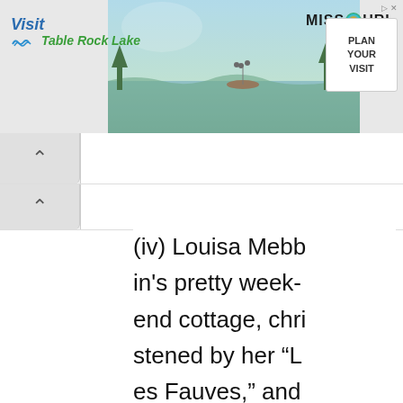[Figure (screenshot): Banner advertisement for Visit Table Rock Lake with Missouri tourism branding and a 'Plan Your Visit' button, overlaid on a lake/nature photo]
(iv) Louisa Mebbin's pretty weekend cottage, christened by her “Les Fauves,” and gay in summertime with its garden borders of tiger-lilies, is the wonder and